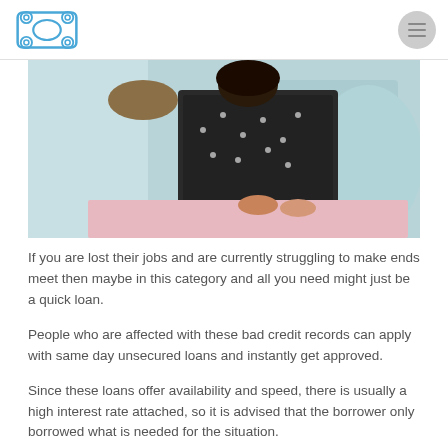Logo and navigation menu
[Figure (photo): Two people sitting together reviewing documents, one person in a black patterned top and another in a light blue top, with a pink folder visible on the table]
If you are lost their jobs and are currently struggling to make ends meet then maybe in this category and all you need might just be a quick loan.
People who are affected with these bad credit records can apply with same day unsecured loans and instantly get approved.
Since these loans offer availability and speed, there is usually a high interest rate attached, so it is advised that the borrower only borrowed what is needed for the situation.